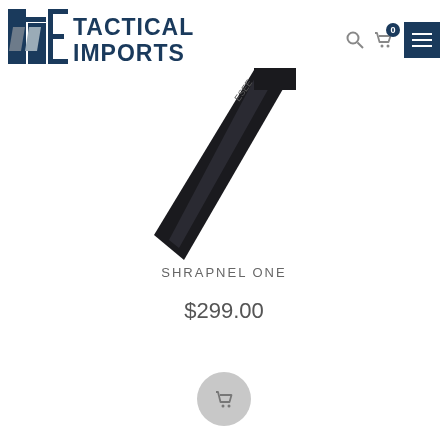[Figure (logo): Tactical Imports logo with stylized T and I letters in dark navy blue and gray, with 'TACTICAL IMPORTS' text in navy blue bold letters]
[Figure (photo): A black tactical knife (Shrapnel One) shown diagonally against a white background, blade pointing down-left]
SHRAPNEL ONE
$299.00
[Figure (other): Round gray add-to-cart button with shopping cart icon]